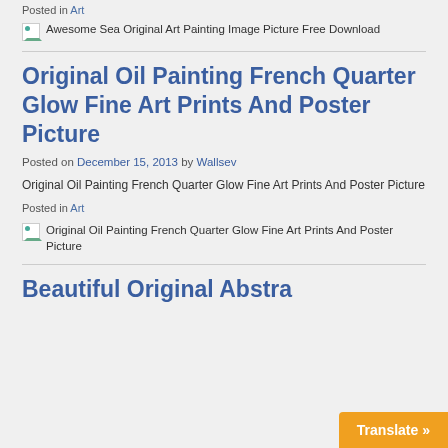Posted in Art
[Figure (illustration): Broken image placeholder: Awesome Sea Original Art Painting Image Picture Free Download]
Original Oil Painting French Quarter Glow Fine Art Prints And Poster Picture
Posted on December 15, 2013 by Wallsev
Original Oil Painting French Quarter Glow Fine Art Prints And Poster Picture
Posted in Art
[Figure (illustration): Broken image placeholder: Original Oil Painting French Quarter Glow Fine Art Prints And Poster Picture]
Beautiful Original Abstra…